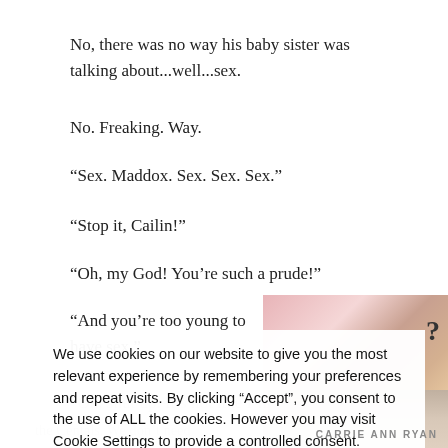No, there was no way his baby sister was talking about...well...sex.
No. Freaking. Way.
“Sex. Maddox. Sex. Sex. Sex.”
“Stop it, Cailin!”
“Oh, my God! You’re such a prude!”
“And you’re too young to have sex.”
[Figure (photo): Book cover image showing two people close together, partially visible in upper right corner of page]
“Oh, shut up. It’s not like I’m already doing it. Maddox, you’re starting to sound like…”
We use cookies on our website to give you the most relevant experience by remembering your preferences and repeat visits. By clicking “Accept”, you consent to the use of ALL the cookies. However you may visit Cookie Settings to provide a controlled consent.
Cookie settings
ACCEPT
patience. “I would hope not…”
CARRIE ANN RYAN
the Centals. We don’t need